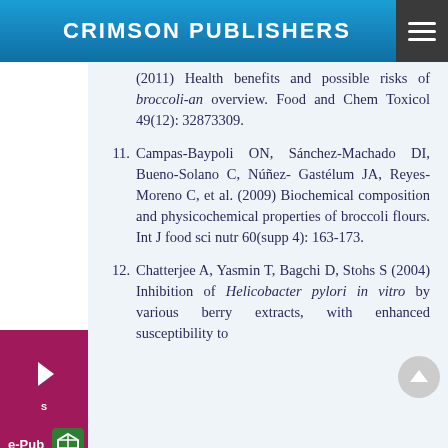CRIMSON PUBLISHERS
(2011) Health benefits and possible risks of broccoli-an overview. Food and Chem Toxicol 49(12): 32873309.
11. Campas-Baypoli ON, Sánchez-Machado DI, Bueno-Solano C, Núñez- Gastélum JA, Reyes-Moreno C, et al. (2009) Biochemical composition and physicochemical properties of broccoli flours. Int J food sci nutr 60(supp 4): 163-173.
12. Chatterjee A, Yasmin T, Bagchi D, Stohs S (2004) Inhibition of Helicobacter pylori in vitro by various berry extracts, with enhanced susceptibility to